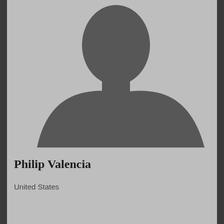[Figure (illustration): Generic silhouette placeholder profile photo — gray background with dark gray human silhouette showing head, neck, and shoulders]
Philip Valencia
United States